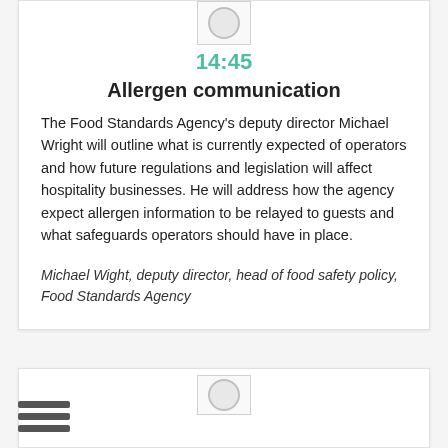[Figure (other): Speaker icon placeholder at top of card]
14:45
Allergen communication
The Food Standards Agency's deputy director Michael Wright will outline what is currently expected of operators and how future regulations and legislation will affect hospitality businesses. He will address how the agency expect allergen information to be relayed to guests and what safeguards operators should have in place.
Michael Wight, deputy director, head of food safety policy, Food Standards Agency
[Figure (other): Second card partial view with speaker icon placeholder]